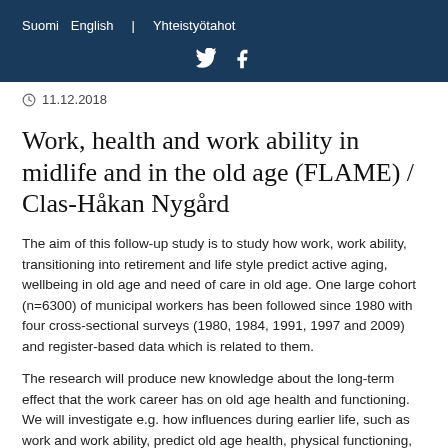Suomi   English   |   Yhteistyötahot
11.12.2018
Work, health and work ability in midlife and in the old age (FLAME) / Clas-Håkan Nygård
The aim of this follow-up study is to study how work, work ability, transitioning into retirement and life style predict active aging, wellbeing in old age and need of care in old age. One large cohort (n=6300) of municipal workers has been followed since 1980 with four cross-sectional surveys (1980, 1984, 1991, 1997 and 2009) and register-based data which is related to them.
The research will produce new knowledge about the long-term effect that the work career has on old age health and functioning. We will investigate e.g. how influences during earlier life, such as work and work ability, predict old age health, physical functioning, participation, and disability. The research will also...